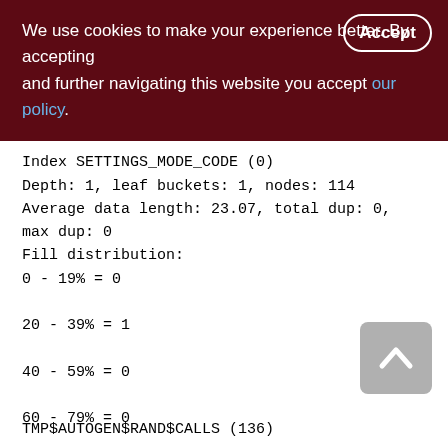We use cookies to make your experience better. By accepting and further navigating this website you accept our policy.
Index SETTINGS_MODE_CODE (0)
Depth: 1, leaf buckets: 1, nodes: 114
Average data length: 23.07, total dup: 0,
max dup: 0
Fill distribution:
0 - 19% = 0
20 - 39% = 1
40 - 59% = 0
60 - 79% = 0
80 - 99% = 0
TMP$AUTOGEN$RAND$CALLS (136)